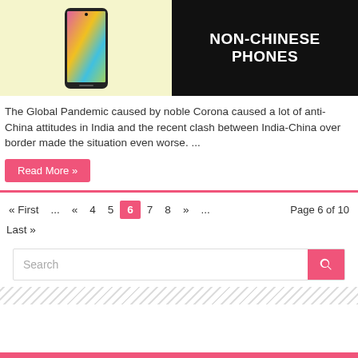[Figure (illustration): Article thumbnail showing a Samsung smartphone on yellow background (left) and black background with white bold text 'NON-CHINESE PHONES' (right)]
The Global Pandemic caused by noble Corona caused a lot of anti-China attitudes in India and the recent clash between India-China over border made the situation even worse. ...
Read More »
« First ... « 4 5 6 7 8 » ... Page 6 of 10 Last »
[Figure (screenshot): Search bar with text input and pink search button]
[Figure (other): Diagonal striped decorative pattern bar]